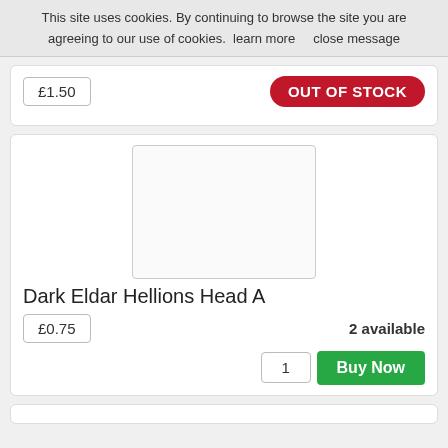This site uses cookies. By continuing to browse the site you are agreeing to our use of cookies. learn more   close message
£1.50
OUT OF STOCK
[Figure (photo): Product image placeholder (empty white box) for Dark Eldar Hellions Head A]
Dark Eldar Hellions Head A
£0.75
2 available
1
Buy Now